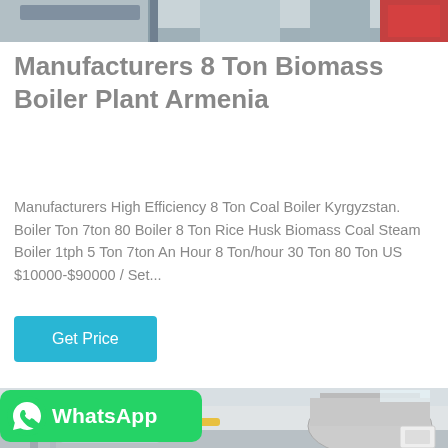[Figure (photo): Partial top view of industrial boiler equipment, cropped at top of page]
Manufacturers 8 Ton Biomass Boiler Plant Armenia
Manufacturers High Efficiency 8 Ton Coal Boiler Kyrgyzstan. Boiler Ton 7ton 80 Boiler 8 Ton Rice Husk Biomass Coal Steam Boiler 1tph 5 Ton 7ton An Hour 8 Ton/hour 30 Ton 80 Ton US $10000-$90000 / Set...
[Figure (other): Get Price button — cyan/teal rectangular button]
[Figure (photo): Industrial boiler plant interior showing large cylindrical boilers, piping, yellow gas pipes, white machinery in a factory hall. WhatsApp badge overlaid at bottom left.]